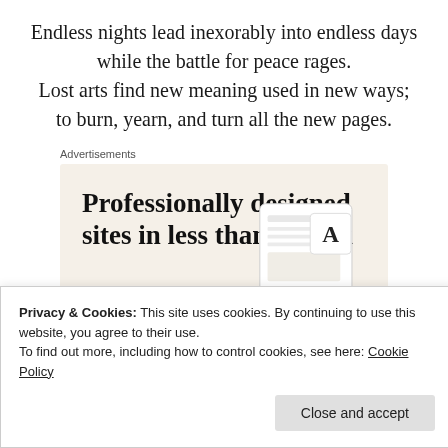Endless nights lead inexorably into endless days while the battle for peace rages. Lost arts find new meaning used in new ways; to burn, yearn, and turn all the new pages.
Advertisements
[Figure (screenshot): Advertisement banner with beige background. Text reads 'Professionally designed sites in less than a week' with a green 'Explore options' button and a mockup of a website/app interface on the right.]
Privacy & Cookies: This site uses cookies. By continuing to use this website, you agree to their use.
To find out more, including how to control cookies, see here: Cookie Policy
Close and accept